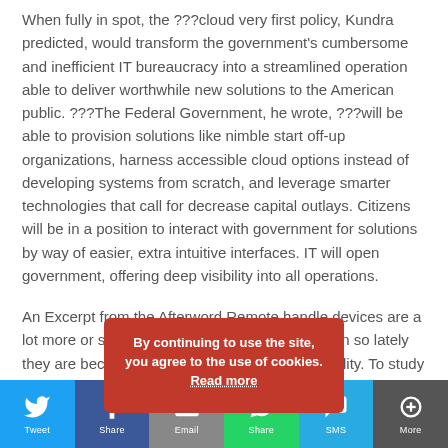When fully in spot, the ???cloud very first policy, Kundra predicted, would transform the government's cumbersome and inefficient IT bureaucracy into a streamlined operation able to deliver worthwhile new solutions to the American public. ???The Federal Government, he wrote, ???will be able to provision solutions like nimble start off-up organizations, harness accessible cloud options instead of developing systems from scratch, and leverage smarter technologies that call for decrease capital outlays. Citizens will be in a position to interact with government for solutions by way of easier, extra intuitive interfaces. IT will open government, offering deep visibility into all operations.
An Excerpt from the Afterword Remote handle devices are a lot more or significantly less tools of comfort even so lately they are becoming a correct statement of versatility. To study whole Afterword, take a look at In spite of witnessing sea adjust in the CIOs' attitudes about Cloud Computing, Carr states that the actual adoption of cloud computing is still in its infancy. Organizations have diverse expectations about cloud benefit and
By continuing to use the site, you agree to the use of cookies. Read more